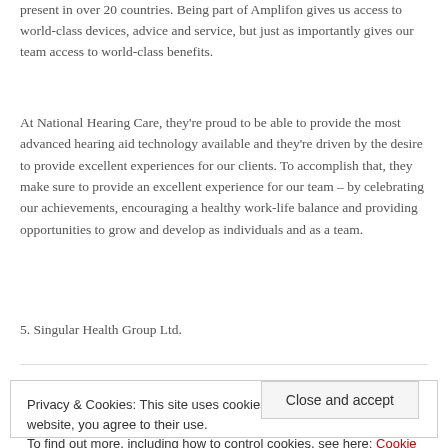present in over 20 countries. Being part of Amplifon gives us access to world-class devices, advice and service, but just as importantly gives our team access to world-class benefits.
At National Hearing Care, they're proud to be able to provide the most advanced hearing aid technology available and they're driven by the desire to provide excellent experiences for our clients. To accomplish that, they make sure to provide an excellent experience for our team – by celebrating our achievements, encouraging a healthy work-life balance and providing opportunities to grow and develop as individuals and as a team.
5. Singular Health Group Ltd.
Privacy & Cookies: This site uses cookies. By continuing to use this website, you agree to their use.
To find out more, including how to control cookies, see here: Cookie Policy